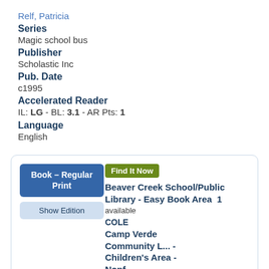Relf, Patricia
Series
Magic school bus
Publisher
Scholastic Inc
Pub. Date
c1995
Accelerated Reader
IL: LG - BL: 3.1 - AR Pts: 1
Language
English
| Book - Regular Print | Find It Now
Beaver Creek School/Public Library - Easy Book Area  1 available
COLE
Camp Verde Community L... - Children's Area - Nonf...
1 available
582.1 REL
Camp Verde Unified School |
| Show Edition |  |